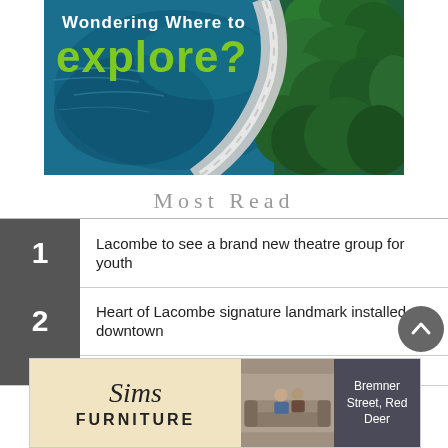[Figure (illustration): Travel advertisement showing aerial view of a curved road beside a large blue lake surrounded by green forest trees. Text overlay reads 'Wondering where to explore?']
Most Read
1. Lacombe to see a brand new theatre group for youth
2. Heart of Lacombe signature landmark installed downtown
3. [partially visible]
[Figure (advertisement): Sims Furniture advertisement. Logo on beige background, photo of two people on a sofa, text 'Bremner Street, Red Deer']